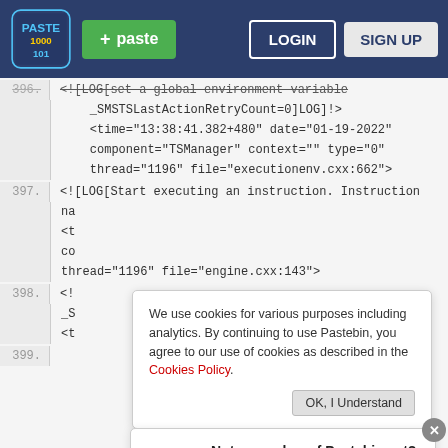Pastebin header with logo, + paste button, LOGIN and SIGN UP buttons
<![LOG[set a global environment variable _SMSTSLastActionRetryCount=0]LOG]!>
<time="13:38:41.382+480" date="01-19-2022"
component="TSManager" context="" type="0"
thread="1196" file="executionenv.cxx:662">
397. <![LOG[Start executing an instruction. Instruction na
<t
co
thread="1196" file="engine.cxx:143">
398. <!
_S
<t
We use cookies for various purposes including analytics. By continuing to use Pastebin, you agree to our use of cookies as described in the Cookies Policy. OK, I Understand
Not a member of Pastebin yet? Sign Up, it unlocks many cool features!
399. Brake Special Near You
Virginia Tire & Auto of Ashburn